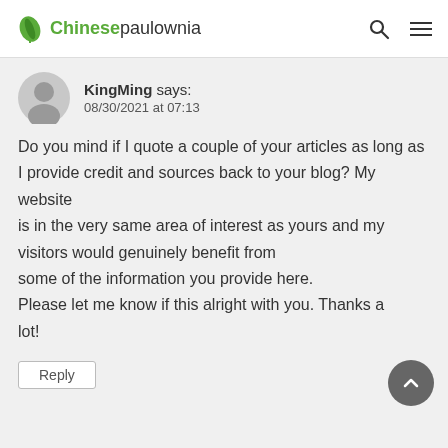Chinesepaulownia
KingMing says:
08/30/2021 at 07:13
Do you mind if I quote a couple of your articles as long as I provide credit and sources back to your blog? My website is in the very same area of interest as yours and my visitors would genuinely benefit from some of the information you provide here. Please let me know if this alright with you. Thanks a lot!
Reply